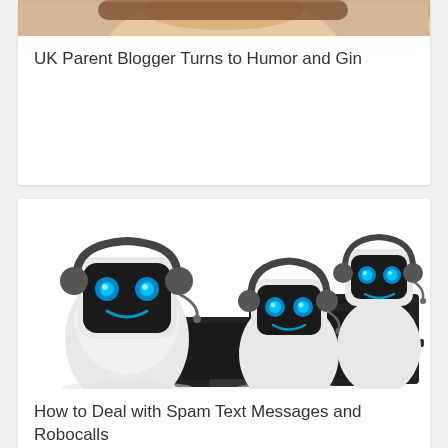[Figure (photo): Partial photo of a person (UK parent blogger) cropped at top of first card]
UK Parent Blogger Turns to Humor and Gin
[Figure (photo): Three cartoon-style robots with headsets and glowing blue eyes working at computers, representing spam/robocall concept]
How to Deal with Spam Text Messages and Robocalls